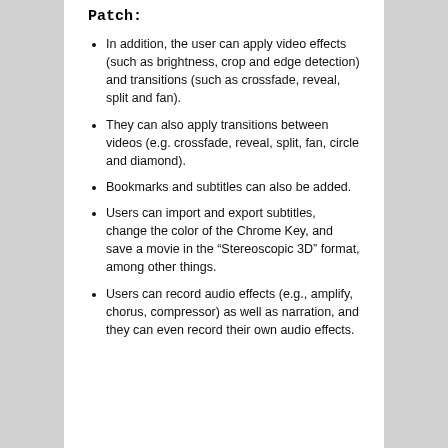Patch:
In addition, the user can apply video effects (such as brightness, crop and edge detection) and transitions (such as crossfade, reveal, split and fan).
They can also apply transitions between videos (e.g. crossfade, reveal, split, fan, circle and diamond).
Bookmarks and subtitles can also be added.
Users can import and export subtitles, change the color of the Chrome Key, and save a movie in the “Stereoscopic 3D” format, among other things.
Users can record audio effects (e.g., amplify, chorus, compressor) as well as narration, and they can even record their own audio effects.